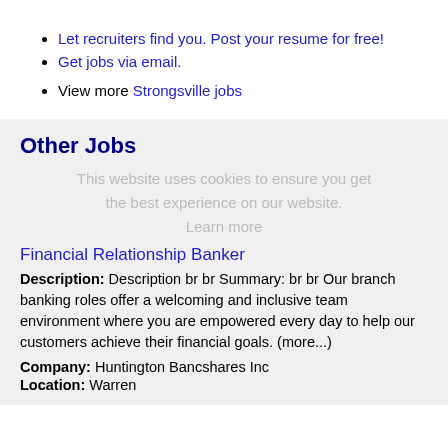Let recruiters find you. Post your resume for free!
Get jobs via email.
View more Strongsville jobs
Other Jobs
This website uses cookies to ensure you get the best experience on our website. Learn more
Financial Relationship Banker
Description: Description br br Summary: br br Our branch banking roles offer a welcoming and inclusive team environment where you are empowered every day to help our customers achieve their financial goals. (more...)
Company: Huntington Bancshares Inc
Location: Warren